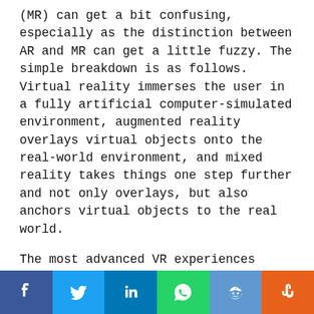(MR) can get a bit confusing, especially as the distinction between AR and MR can get a little fuzzy. The simple breakdown is as follows. Virtual reality immerses the user in a fully artificial computer-simulated environment, augmented reality overlays virtual objects onto the real-world environment, and mixed reality takes things one step further and not only overlays, but also anchors virtual objects to the real world.
The most advanced VR experiences provide freedom of movement, and users can use special hand-held controllers to enhance VR experiences (think Oculus Rift or HTC Vive with controllers). In AR, users can see and interact with the real world while digital content is
[Figure (other): Social sharing bar with icons for Facebook, Twitter, LinkedIn, WhatsApp, Reddit, and StumbleUpon]